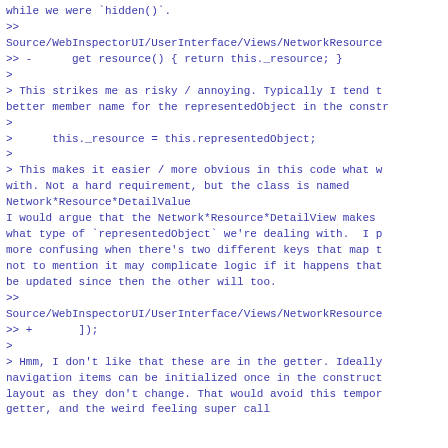while we were `hidden()`.
>>
Source/WebInspectorUI/UserInterface/Views/NetworkResource
>> -      get resource() { return this._resource; }
>
> This strikes me as risky / annoying. Typically I tend t
better member name for the representedObject in the constr
>
>      this._resource = this.representedObject;
>
> This makes it easier / more obvious in this code what w
with. Not a hard requirement, but the class is named
Network*Resource*DetailValue
I would argue that the Network*Resource*DetailView makes
what type of `representedObject` we're dealing with.  I p
more confusing when there's two different keys that map t
not to mention it may complicate logic if it happens that
be updated since then the other will too.
>>
Source/WebInspectorUI/UserInterface/Views/NetworkResource
>> +       ]);
>
> Hmm, I don't like that these are in the getter. Ideally
navigation items can be initialized once in the construct
layout as they don't change. That would avoid this tempor
getter, and the weird feeling super call